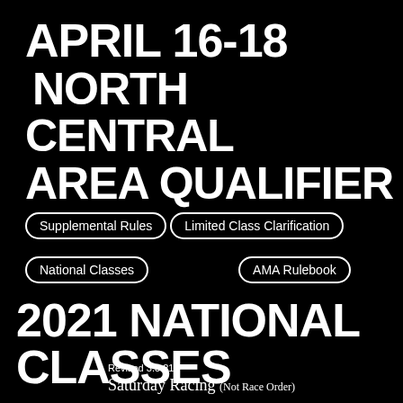APRIL 16-18 NORTH CENTRAL AREA QUALIFIER
Supplemental Rules  Limited Class Clarification
National Classes  AMA Rulebook
2021 NATIONAL CLASSES
Revised 3.3.21
Saturday Racing (Not Race Order)